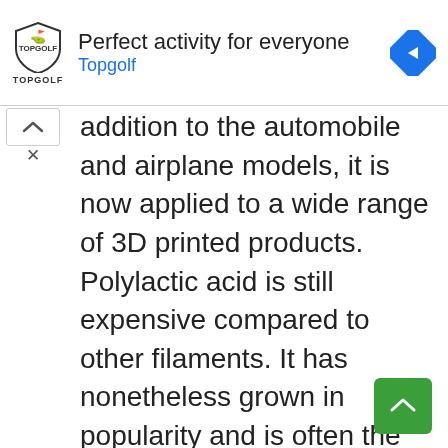[Figure (screenshot): Advertisement banner for Topgolf with shield logo, text 'Perfect activity for everyone', 'Topgolf', and a blue diamond navigation arrow icon]
addition to the automobile and airplane models, it is now applied to a wide range of 3D printed products. Polylactic acid is still expensive compared to other filaments. It has nonetheless grown in popularity and is often the best filament to use for minis.